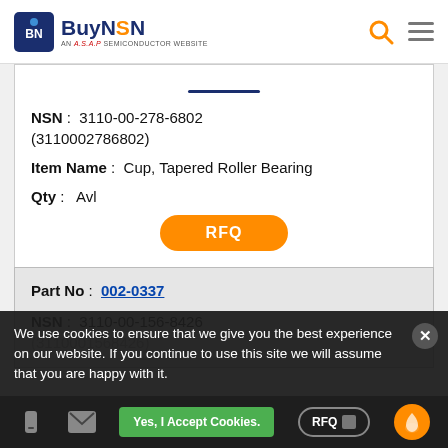BuyNSN - AN A.S.A.P SEMICONDUCTOR WEBSITE
NSN: 3110-00-278-6802 (3110002786802)
Item Name: Cup, Tapered Roller Bearing
Qty: Avl
RFQ
Part No: 002-0337
NSN: 3110-00-156-8426 (3110001568426)
We use cookies to ensure that we give you the best experience on our website. If you continue to use this site we will assume that you are happy with it.
Yes, I Accept Cookies.